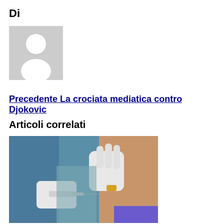Di
[Figure (illustration): Generic user avatar placeholder — grey silhouette of a person on a light grey background]
Precedente La crociata mediatica contro Djokovic
Articoli correlati
[Figure (photo): Close-up photo of a medical professional in blue scrubs and white gloves administering a vaccine injection into a person's arm]